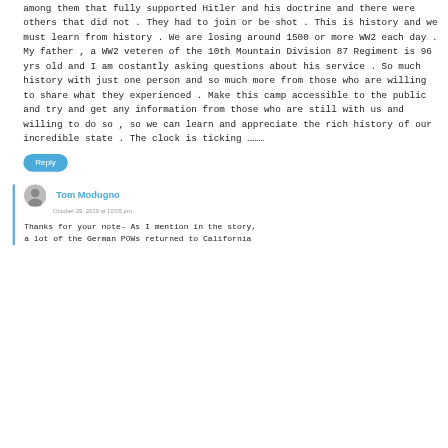among them that fully supported Hitler and his doctrine and there were others that did not . They had to join or be shot . This is history and we must learn from history . We are losing around 1500 or more WW2 each day . My father , a WW2 veteren of the 10th Mountain Division 87 Regiment is 96 yrs old and I am costantly asking questions about his service . So much history with just one person and so much more from those who are willing to share what they experienced . Make this camp accessible to the public and try and get any information from those who are still with us and willing to do so , so we can learn and appreciate the rich history of our incredible state . The clock is ticking ………
Reply
Tom Modugno
October 29, 2019 at 10:05 pm
Thanks for your note- As I mention in the story, a lot of the German POWs returned to California